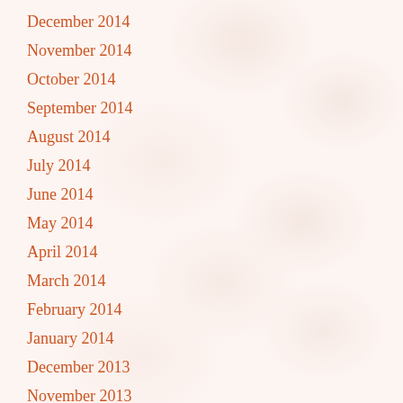December 2014
November 2014
October 2014
September 2014
August 2014
July 2014
June 2014
May 2014
April 2014
March 2014
February 2014
January 2014
December 2013
November 2013
October 2013
September 2013